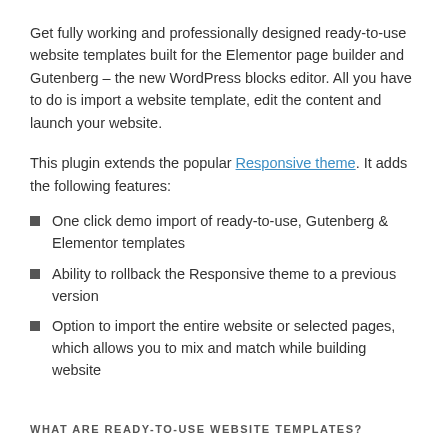Get fully working and professionally designed ready-to-use website templates built for the Elementor page builder and Gutenberg – the new WordPress blocks editor. All you have to do is import a website template, edit the content and launch your website.
This plugin extends the popular Responsive theme. It adds the following features:
One click demo import of ready-to-use, Gutenberg & Elementor templates
Ability to rollback the Responsive theme to a previous version
Option to import the entire website or selected pages, which allows you to mix and match while building website
WHAT ARE READY-TO-USE WEBSITE TEMPLATES?